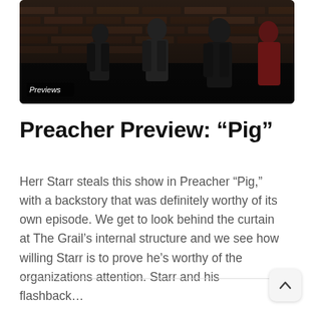[Figure (photo): Dark nighttime photo of people standing in front of a brick wall, with a 'Previews' label overlaid in the lower left corner]
Preacher Preview: “Pig”
Herr Starr steals this show in Preacher “Pig,” with a backstory that was definitely worthy of its own episode. We get to look behind the curtain at The Grail’s internal structure and we see how willing Starr is to prove he’s worthy of the organizations attention. Starr and his flashback…